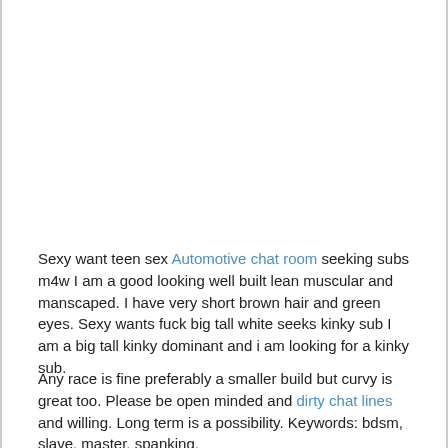Sexy want teen sex Automotive chat room seeking subs m4w I am a good looking well built lean muscular and manscaped. I have very short brown hair and green eyes. Sexy wants fuck big tall white seeks kinky sub I am a big tall kinky dominant and i am looking for a kinky sub.
Any race is fine preferably a smaller build but curvy is great too. Please be open minded and dirty chat lines and willing. Long term is a possibility. Keywords: bdsm, slave, master, spanking.